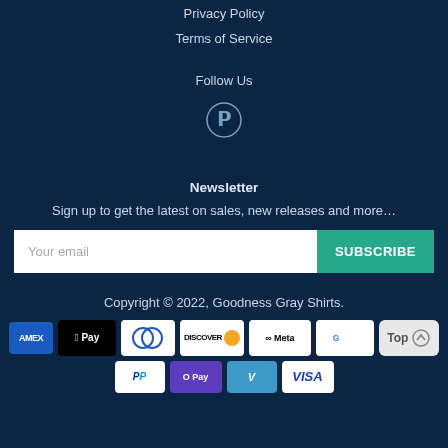Privacy Policy
Terms of Service
Follow Us
[Figure (logo): Pinterest icon (circle with P)]
Newsletter
Sign up to get the latest on sales, new releases and more…
Your email | SUBSCRIBE
Copyright © 2022, Goodness Gray Shirts.
[Figure (logo): Payment method badges: AMEX, Apple Pay, Diners Club, Discover, Meta Pay, Google Pay, Top button, PayPal, OPay, Venmo, VISA]